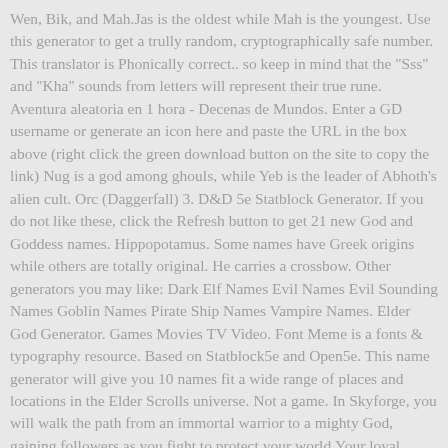Wen, Bik, and Mah.Jas is the oldest while Mah is the youngest. Use this generator to get a trully random, cryptographically safe number. This translator is Phonically correct.. so keep in mind that the "Sss" and "Kha" sounds from letters will represent their true rune. Aventura aleatoria en 1 hora - Decenas de Mundos. Enter a GD username or generate an icon here and paste the URL in the box above (right click the green download button on the site to copy the link) Nug is a god among ghouls, while Yeb is the leader of Abhoth's alien cult. Orc (Daggerfall) 3. D&D 5e Statblock Generator. If you do not like these, click the Refresh button to get 21 new God and Goddess names. Hippopotamus. Some names have Greek origins while others are totally original. He carries a crossbow. Other generators you may like: Dark Elf Names Evil Names Evil Sounding Names Goblin Names Pirate Ship Names Vampire Names. Elder God Generator. Games Movies TV Video. Font Meme is a fonts & typography resource. Based on Statblock5e and Open5e. This name generator will give you 10 names fit a wide range of places and locations in the Elder Scrolls universe. Not a game. In Skyforge, you will walk the path from an immortal warrior to a mighty God, gaining followers as you fight to protect your world.Your loyal followers will help you increase your power as you rise to become an Elder God.